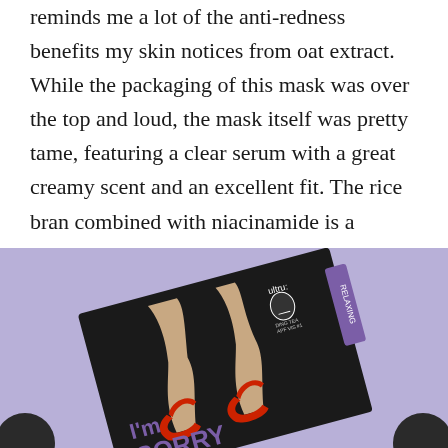reminds me a lot of the anti-redness benefits my skin notices from oat extract. While the packaging of this mask was over the top and loud, the mask itself was pretty tame, featuring a clear serum with a great creamy scent and an excellent fit. The rice bran combined with niacinamide is a wonderful treat for redness-prone skin.
[Figure (photo): Photo of an Ultru face mask package with black background showing legs in red high heels, purple/lavender surface, text reading 'I'm SORRY' and 'ultru:' branding with 'RELAXING' tab]